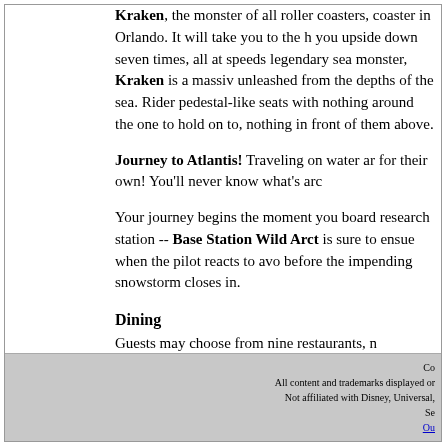Kraken, the monster of all roller coasters, coaster in Orlando. It will take you to the h you upside down seven times, all at speeds legendary sea monster, Kraken is a massiv unleashed from the depths of the sea. Rider pedestal-like seats with nothing around the one to hold on to, nothing in front of them above.
Journey to Atlantis! Traveling on water ar for their own! You'll never know what's arc
Your journey begins the moment you board research station -- Base Station Wild Arct is sure to ensue when the pilot reacts to avo before the impending snowstorm closes in.
Dining
Guests may choose from nine restaurants, n Dinner and Show" features traditional mus
Co All content and trademarks displayed or Not affiliated with Disney, Universal, Se Ou